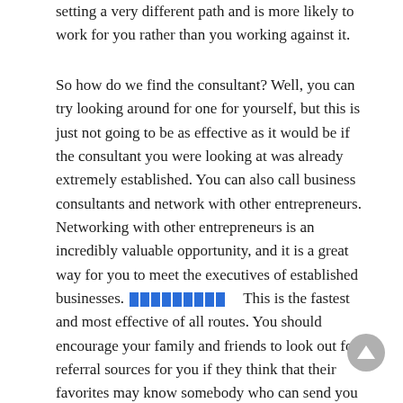setting a very different path and is more likely to work for you rather than you working against it.
So how do we find the consultant? Well, you can try looking around for one for yourself, but this is just not going to be as effective as it would be if the consultant you were looking at was already extremely established. You can also call business consultants and network with other entrepreneurs. Networking with other entrepreneurs is an incredibly valuable opportunity, and it is a great way for you to meet the executives of established businesses. [icon] This is the fastest and most effective of all routes. You should encourage your family and friends to look out for referral sources for you if they think that their favorites may know somebody who can send you a business consultant.